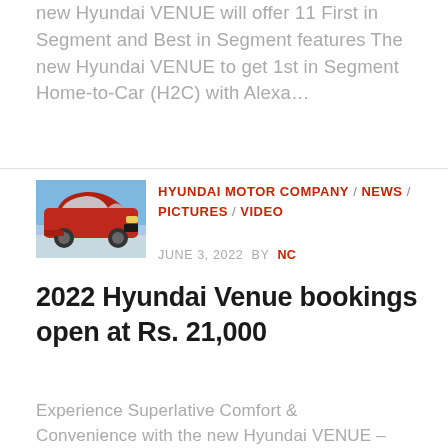new Hyundai VENUE will offer 11 First in Segment and Best in Segment features The new Hyundai VENUE to get 1st in Segment Home-to-Car (H2C) with Alexa…
[Figure (photo): Red Hyundai Venue SUV front-quarter view thumbnail]
HYUNDAI MOTOR COMPANY / NEWS / PICTURES / VIDEO
JUNE 3, 2022 BY NC
2022 Hyundai Venue bookings open at Rs. 21,000
Experience Superlative Comfort & Convenience with the new Hyundai VENUE – Bookings Now Open – HMI has opened bookings for the new Hyundai VENUE with an amount of Rs 21,000/- The new Hyundai…